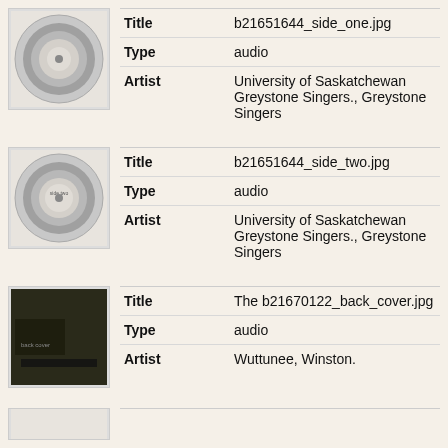| Field | Value |
| --- | --- |
| Title | b21651644_side_one.jpg |
| Type | audio |
| Artist | University of Saskatchewan Greystone Singers., Greystone Singers |
| Field | Value |
| --- | --- |
| Title | b21651644_side_two.jpg |
| Type | audio |
| Artist | University of Saskatchewan Greystone Singers., Greystone Singers |
| Field | Value |
| --- | --- |
| Title | The b21670122_back_cover.jpg |
| Type | audio |
| Artist | Wuttunee, Winston. |